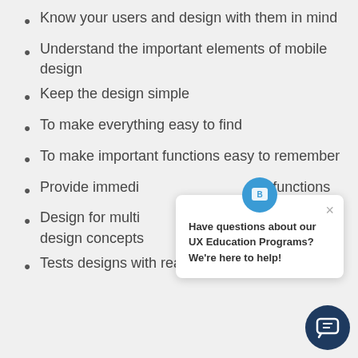Know your users and design with them in mind
Understand the important elements of mobile design
Keep the design simple
To make everything easy to find
To make important functions easy to remember
Provide immedi… functions
Design for multi… responsive design concepts
Tests designs with real users, early and often
[Figure (screenshot): Chat popup widget with blue icon showing 'B' shield logo and text: 'Have questions about our UX Education Programs? We're here to help!' with a close X button, and a dark navy chat button in the bottom right corner.]